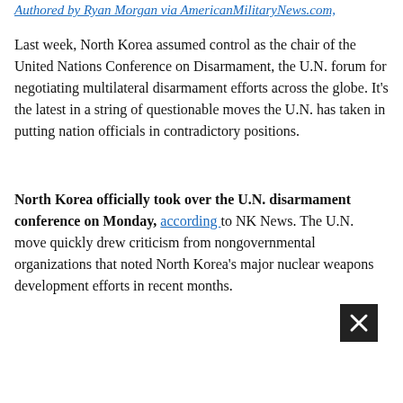Authored by Ryan Morgan via AmericanMilitaryNews.com,
Last week, North Korea assumed control as the chair of the United Nations Conference on Disarmament, the U.N. forum for negotiating multilateral disarmament efforts across the globe. It's the latest in a string of questionable moves the U.N. has taken in putting nation officials in contradictory positions.
North Korea officially took over the U.N. disarmament conference on Monday, according to NK News. The U.N. move quickly drew criticism from nongovernmental organizations that noted North Korea's major nuclear weapons development efforts in recent months.